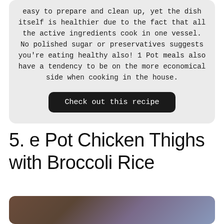easy to prepare and clean up, yet the dish itself is healthier due to the fact that all the active ingredients cook in one vessel. No polished sugar or preservatives suggests you're eating healthy also! 1 Pot meals also have a tendency to be on the more economical side when cooking in the house.
Check out this recipe
5. e Pot Chicken Thighs with Broccoli Rice
[Figure (photo): Partial photo showing a dark wooden surface and blue/purple blurred background, cropped at bottom of page]